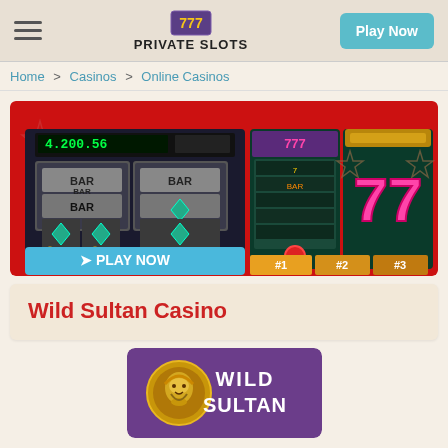PRIVATE SLOTS — Play Now
Home > Casinos > Online Casinos
[Figure (screenshot): Casino slot machine banner with BAR symbols, 777 slots, jackpot display showing 4,200.56, PLAY NOW button, and #1 #2 #3 ranking tabs on red background]
Wild Sultan Casino
[Figure (logo): Wild Sultan casino logo: purple rectangle with golden genie lamp coin icon and WILD SULTAN text in white]